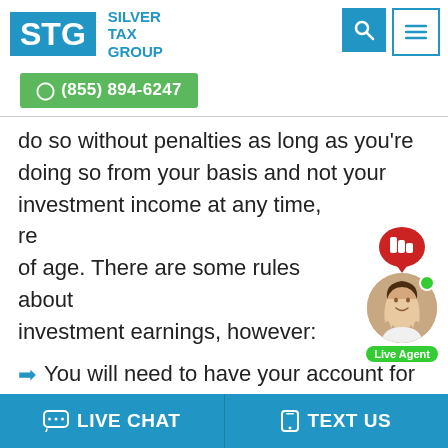[Figure (logo): Silver Tax Group logo with STG initials in blue rectangle and company name in blue text]
(855) 894-6247
do so without penalties as long as you're doing so from your basis and not your investment income at any time, regardless of age. There are some rules about investment earnings, however:
You will need to have your account for at least five years and be at least 59½ years
LIVE CHAT   TEXT US